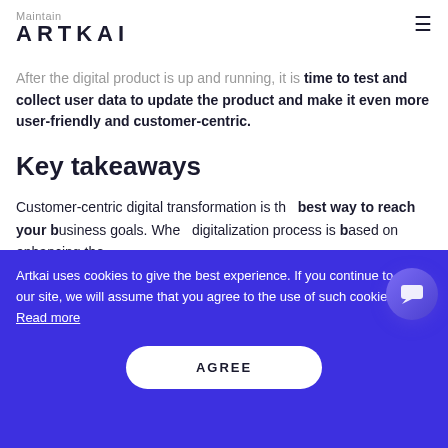Maintain
ARTKAI
After the digital product is up and running, it is time to test and collect user data to update the product and make it even more user-friendly and customer-centric.
Key takeaways
Customer-centric digital transformation is the best way to reach your business goals. When digitalization process is based on enhancing the
Artkai uses cookies to give the best experience. If you continue to use our site, we will assume that you agree to the use of such cookies. Read more
AGREE